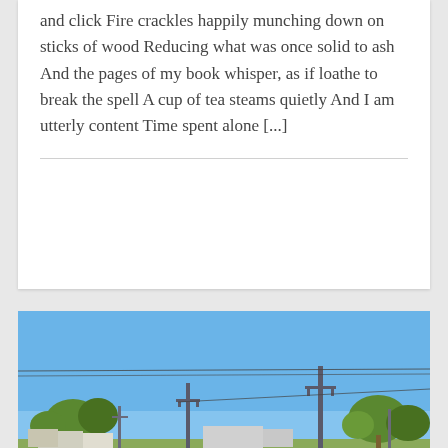and click Fire crackles happily munching down on sticks of wood Reducing what was once solid to ash And the pages of my book whisper, as if loathe to break the spell A cup of tea steams quietly And I am utterly content Time spent alone [...]
[Figure (photo): A rural Australian town road scene under a clear blue sky, with power poles lining a straight road, sparse trees, low buildings, and green grass verges.]